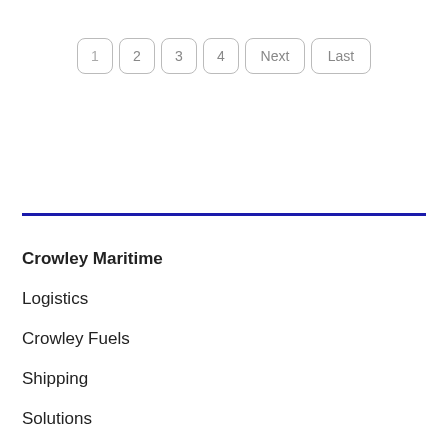1  2  3  4  Next  Last
Crowley Maritime
Logistics
Crowley Fuels
Shipping
Solutions